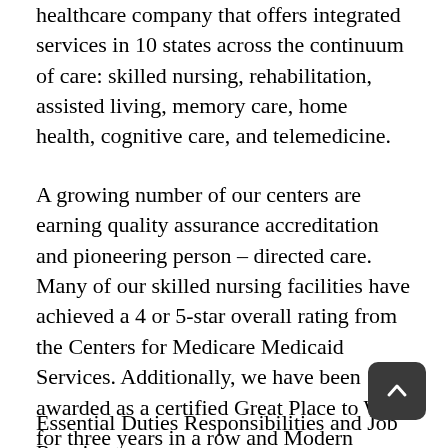healthcare company that offers integrated services in 10 states across the continuum of care: skilled nursing, rehabilitation, assisted living, memory care, home health, cognitive care, and telemedicine.
A growing number of our centers are earning quality assurance accreditation and pioneering person – directed care. Many of our skilled nursing facilities have achieved a 4 or 5-star overall rating from the Centers for Medicare Medicaid Services. Additionally, we have been awarded as a certified Great Place to Work for three years in a row and Modern Healthcare's “Best Places to Work!”
Essential Duties Responsibilities and Job Requirements: